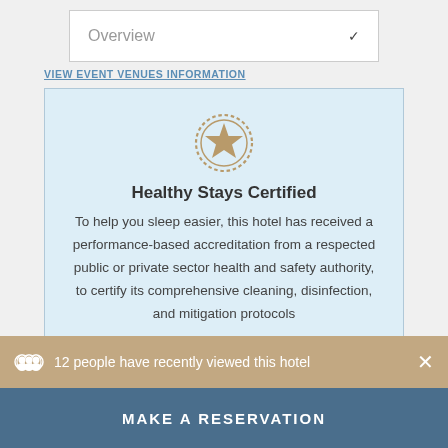Overview
VIEW EVENT VENUES INFORMATION
[Figure (illustration): Circular badge icon with a star in the center and a decorative rope border, rendered in tan/gold color]
Healthy Stays Certified
To help you sleep easier, this hotel has received a performance-based accreditation from a respected public or private sector health and safety authority, to certify its comprehensive cleaning, disinfection, and mitigation protocols
12 people have recently viewed this hotel
MAKE A RESERVATION